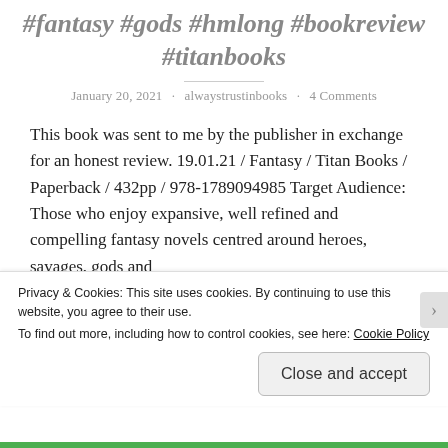#fantasy #gods #hmlong #bookreview #titanbooks
January 20, 2021 · alwaystrustinbooks · 4 Comments
This book was sent to me by the publisher in exchange for an honest review. 19.01.21 / Fantasy / Titan Books / Paperback / 432pp / 978-1789094985 Target Audience: Those who enjoy expansive, well refined and compelling fantasy novels centred around heroes, savages, gods and
Privacy & Cookies: This site uses cookies. By continuing to use this website, you agree to their use.
To find out more, including how to control cookies, see here: Cookie Policy
Close and accept